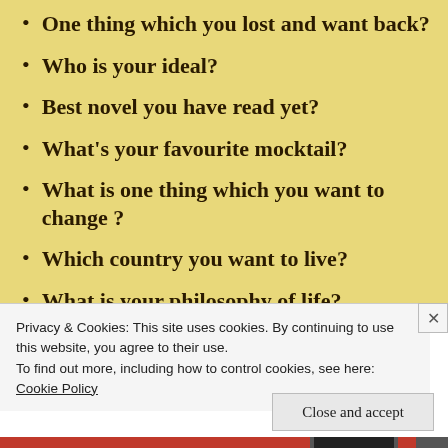One thing which you lost and want back?
Who is your ideal?
Best novel you have read yet?
What’s your favourite mocktail?
What is one thing which you want to change ?
Which country you want to live?
What is your philosophy of life?
Privacy & Cookies: This site uses cookies. By continuing to use this website, you agree to their use.
To find out more, including how to control cookies, see here:
Cookie Policy
Close and accept